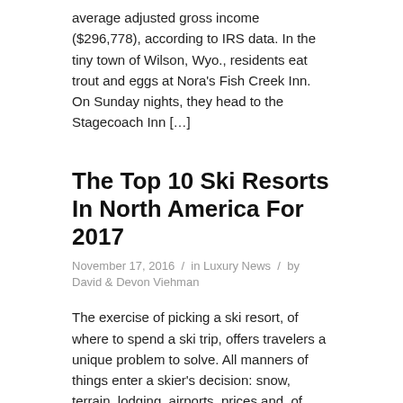average adjusted gross income ($296,778), according to IRS data. In the tiny town of Wilson, Wyo., residents eat trout and eggs at Nora's Fish Creek Inn. On Sunday nights, they head to the Stagecoach Inn […]
The Top 10 Ski Resorts In North America For 2017
November 17, 2016 / in Luxury News / by David & Devon Viehman
The exercise of picking a ski resort, of where to spend a ski trip, offers travelers a unique problem to solve. All manners of things enter a skier's decision: snow, terrain, lodging, airports, prices and, of course, the novelty of experience. So picking a ski resort for spring break 0r the New Year's holiday is […]
Is the Luxury Housing Market in a Slump?